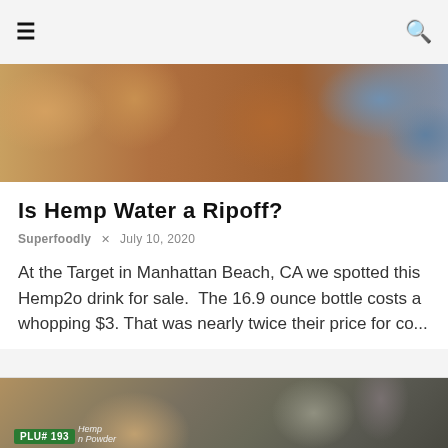☰  🔍
[Figure (photo): Close-up photo of store shelves with jars and bottles of various food/health products]
Is Hemp Water a Ripoff?
Superfoodly  ×  July 10, 2020
At the Target in Manhattan Beach, CA we spotted this Hemp2o drink for sale.  The 16.9 ounce bottle costs a whopping $3. That was nearly twice their price for co...
[Figure (photo): Close-up photo of hemp products on a store shelf or display, showing a price tag reading PLU# 193 and a label reading Hemp Protein Powder]